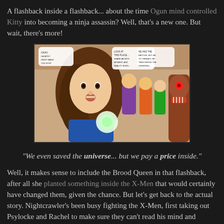A flashback inside a flashback... about the time Ogun mind controlled Kitty into becoming a ninja assassin? Well, that's a new one. But wait, there's more!
[Figure (illustration): Comic book panel showing a woman with brown curly hair in a blue outfit holding a glowing orb, with superhero characters and a monster with red eyes in the background. Speech bubbles visible.]
"We even saved the universe... but we pay a price inside."
Well, it makes sense to include the Brood Queen in that flashback, after all she planted something inside the X-Men that would certainly have changed them, given the chance. But let's get back to the actual story. Nightcrawler's been busy fighting the X-Men, first taking out Psylocke and Rachel to make sure they can't read his mind and predict his moves. Which sounds like a smart move, as long as you're willing to gloss over the fact he is actually fighting Shadow King, an all